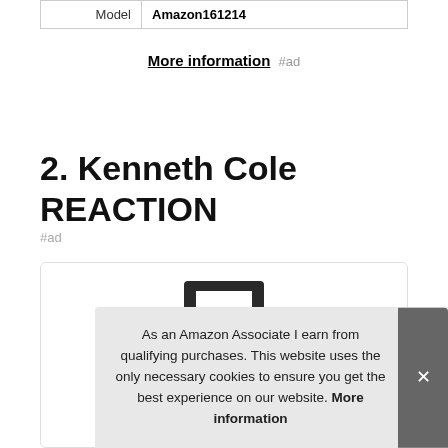| Model | Amazon161214 |
More information #ad
2. Kenneth Cole REACTION
#ad
[Figure (photo): Product image of a Kenneth Cole REACTION luggage, partially visible inside a card with rounded border. The top handle of the luggage is visible along with the rose gold body at the bottom.]
As an Amazon Associate I earn from qualifying purchases. This website uses the only necessary cookies to ensure you get the best experience on our website. More information